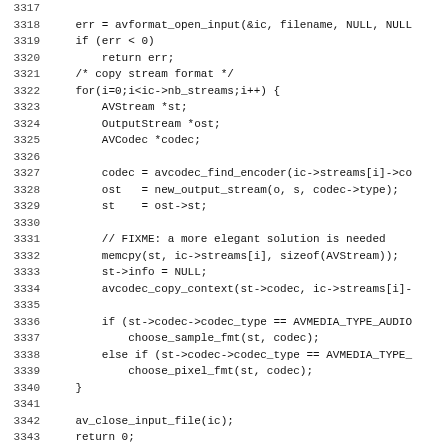Source code listing lines 3317-3348 showing C function with avformat_open_input, stream copying loop, codec handling, and opt_output_file function definition.